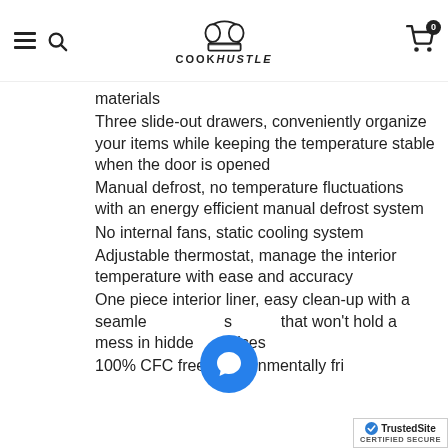COOKHUSTLE navigation header with menu, search, logo, and cart
materials
Three slide-out drawers, conveniently organize your items while keeping the temperature stable when the door is opened
Manual defrost, no temperature fluctuations with an energy efficient manual defrost system
No internal fans, static cooling system
Adjustable thermostat, manage the interior temperature with ease and accuracy
One piece interior liner, easy clean-up with a seamless surface that won't hold a mess in hidden crevices
100% CFC free, environmentally fri...